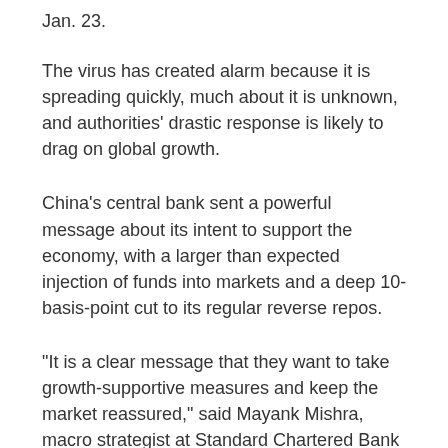Jan. 23.
The virus has created alarm because it is spreading quickly, much about it is unknown, and authorities' drastic response is likely to drag on global growth.
China's central bank sent a powerful message about its intent to support the economy, with a larger than expected injection of funds into markets and a deep 10-basis-point cut to its regular reverse repos.
“It is a clear message that they want to take growth-supportive measures and keep the market reassured,” said Mayank Mishra, macro strategist at Standard Chartered Bank in Singapore.
Beijing has also said it would help firms that produce vital goods resume work as soon as possible, state broadcaster